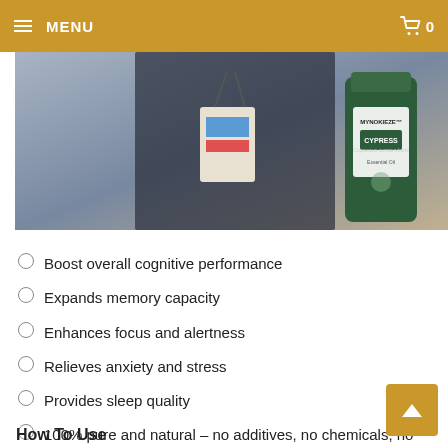MENU | Cart 0
[Figure (photo): Product photo showing a person with a conference badge and a bottle of MYNOKIEZE Cypress essential oil product]
Boost overall cognitive performance
Expands memory capacity
Enhances focus and alertness
Relieves anxiety and stress
Provides sleep quality
100% pure and natural – no additives, no chemicals, no alcohol, no added fragrance and not diluted
How To Use